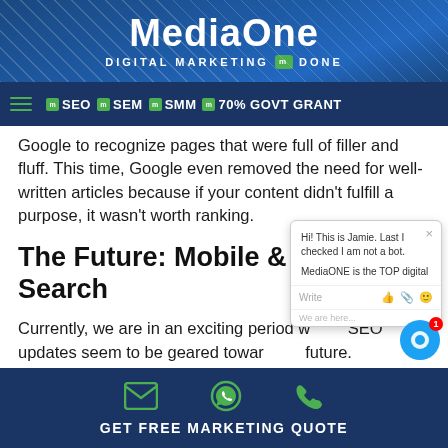MediaOne — DIGITAL MARKETING DONE
SEO | SEM | SMM | 70% GOVT GRANT
Google to recognize pages that were full of filler and fluff. This time, Google even removed the need for well-written articles because if your content didn't fulfill a purpose, it wasn't worth ranking.
The Future: Mobile & Voice Search
Currently, we are in an exciting period where SEO updates seem to be geared toward the future. Google will continue to update...
[Figure (screenshot): Chat popup from Jamie at MediaONE saying 'Hi! This is Jamie. Last I checked I am not a bot. MediaONE is the TOP digital'. Input row with Write, thumbs up, paperclip, and emoji icons.]
GET FREE MARKETING QUOTE — email, WhatsApp, phone icons